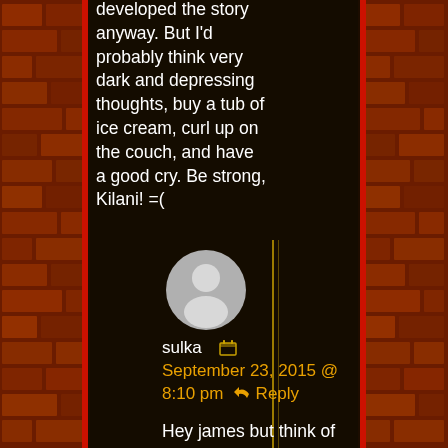developed the story anyway. But I'd probably think very dark and depressing thoughts, buy a tub of ice cream, curl up on the couch, and have a good cry. Be strong, Kilani! =(
[Figure (illustration): User avatar - grey silhouette of a person in a circle]
sulka  [calendar icon]
September 23, 2015 @ 8:10 pm  ↩ Reply
Hey james but think of the bright side she